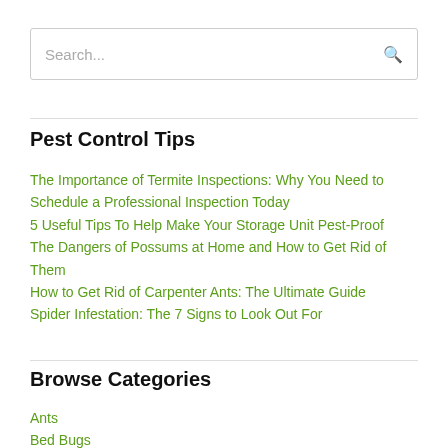Search...
Pest Control Tips
The Importance of Termite Inspections: Why You Need to Schedule a Professional Inspection Today
5 Useful Tips To Help Make Your Storage Unit Pest-Proof
The Dangers of Possums at Home and How to Get Rid of Them
How to Get Rid of Carpenter Ants: The Ultimate Guide
Spider Infestation: The 7 Signs to Look Out For
Browse Categories
Ants
Bed Bugs